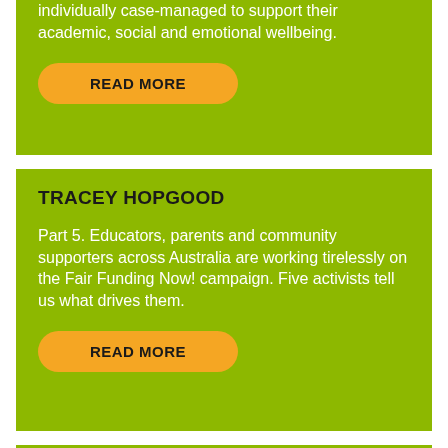individually case-managed to support their academic, social and emotional wellbeing.
READ MORE
TRACEY HOPGOOD
Part 5. Educators, parents and community supporters across Australia are working tirelessly on the Fair Funding Now! campaign. Five activists tell us what drives them.
READ MORE
VIVIENNE BOCHENEK